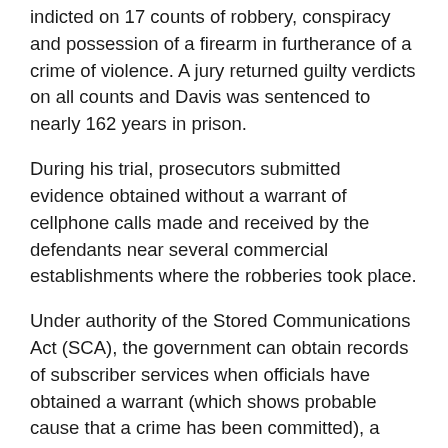indicted on 17 counts of robbery, conspiracy and possession of a firearm in furtherance of a crime of violence. A jury returned guilty verdicts on all counts and Davis was sentenced to nearly 162 years in prison.
During his trial, prosecutors submitted evidence obtained without a warrant of cellphone calls made and received by the defendants near several commercial establishments where the robberies took place.
Under authority of the Stored Communications Act (SCA), the government can obtain records of subscriber services when officials have obtained a warrant (which shows probable cause that a crime has been committed), a subpoena or, as occurred in this case, a court order (which requires mere suspicion).
Under the SCA, all that the government is required to show is “that there are reasonable grounds to believe that the… records or other information sought, are relevant and material to an ongoing criminal investigation” (18 U.S.C. § 2703(d)).